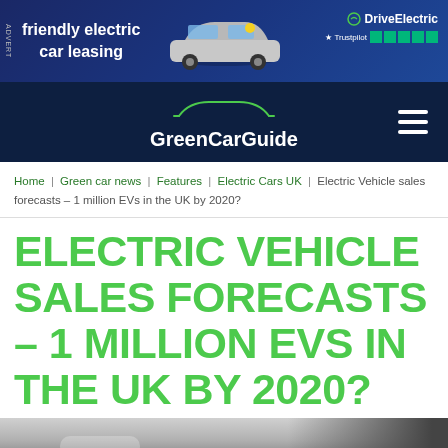[Figure (other): Advertisement banner for DriveElectric showing a silver Mini electric car, text 'friendly electric car leasing', DriveElectric logo and Trustpilot 5-star rating]
GreenCarGuide
Home | Green car news | Features | Electric Cars UK | Electric Vehicle sales forecasts – 1 million EVs in the UK by 2020?
ELECTRIC VEHICLE SALES FORECASTS – 1 MILLION EVS IN THE UK BY 2020?
[Figure (photo): Partial photo showing close-up of a white electric car door/handle area with a dark background]